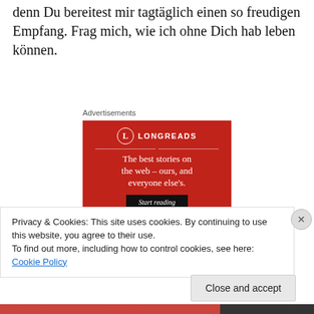denn Du bereitest mir tagtäglich einen so freudigen Empfang. Frag mich, wie ich ohne Dich hab leben können.
Advertisements
[Figure (infographic): Longreads advertisement banner on red background. Shows Longreads logo (circle with L), tagline 'The best stories on the web – ours, and everyone else's.' and a 'Start reading' button.]
Privacy & Cookies: This site uses cookies. By continuing to use this website, you agree to their use.
To find out more, including how to control cookies, see here: Cookie Policy
Close and accept